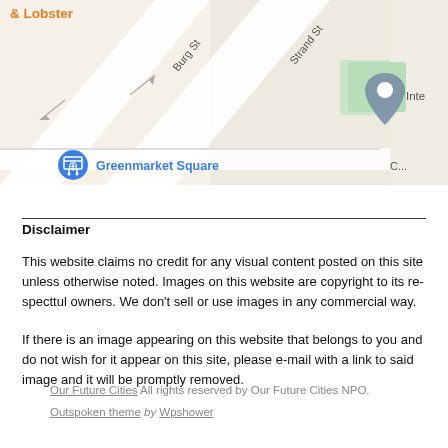[Figure (map): Street map showing Greenmarket Square area with streets Burg St, Strand St, a location pin marker, and labels including '& Lobster' in orange and 'Inte' partially visible. Blue shopping cart icon near Greenmarket Square label.]
Disclaimer
This website claims no credit for any visual content posted on this site unless otherwise noted. Images on this website are copyright to its re-specttul owners. We don't sell or use images in any commercial way.
If there is an image appearing on this website that belongs to you and do not wish for it appear on this site, please e-mail with a link to said image and it will be promptly removed.
Our Future Cities All rights reserved by Our Future Cities NPO.
Outspoken theme by Wpshower